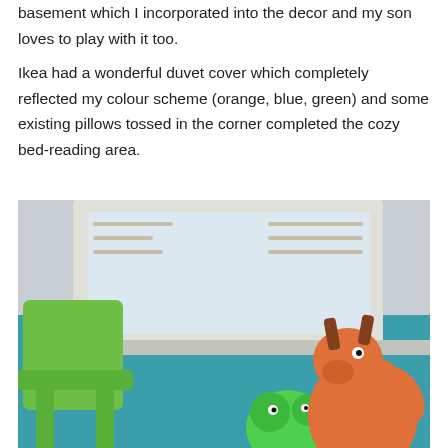basement which I incorporated into the decor and my son loves to play with it too.
Ikea had a wonderful duvet cover which completely reflected my colour scheme (orange, blue, green) and some existing pillows tossed in the corner completed the cozy bed-reading area.
[Figure (photo): A children's room with teal/blue walls showing a window with white frame and blinds, a green plastic chair on the left, and stuffed animal toys including an orange moose and a green plush toy on the right side.]